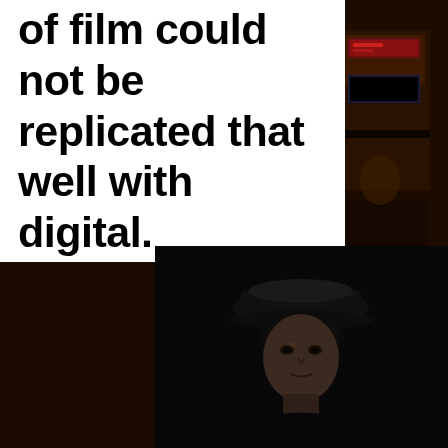of film could not be replicated that well with digital.
[Figure (photo): Black and white portrait photo of a young person wearing a dark wide-brimmed hat, looking directly at camera, against a very dark background.]
[Figure (photo): Dark nighttime street scene with illuminated storefronts and signage, visible on the right side of the page as background.]